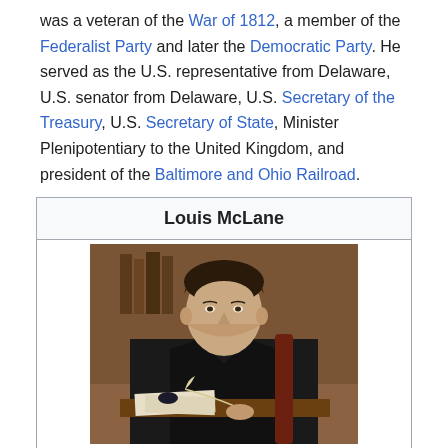was a veteran of the War of 1812, a member of the Federalist Party and later the Democratic Party. He served as the U.S. representative from Delaware, U.S. senator from Delaware, U.S. Secretary of the Treasury, U.S. Secretary of State, Minister Plenipotentiary to the United Kingdom, and president of the Baltimore and Ohio Railroad.
Louis McLane
[Figure (photo): Portrait painting of Louis McLane, a man in dark formal attire with white cravat, seated at a desk with papers and a quill pen, painted in a classical 19th century style.]